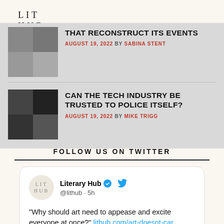LIT HUB
THAT RECONSTRUCT ITS EVENTS
AUGUST 19, 2022 BY SABINA STENT
CAN THE TECH INDUSTRY BE TRUSTED TO POLICE ITSELF?
AUGUST 19, 2022 BY MIKE TRIGG
FOLLOW US ON TWITTER
Literary Hub @lithub · 5h
“Why should art need to appease and excite everyone at once?” lithub.com/art-doesnt-car…